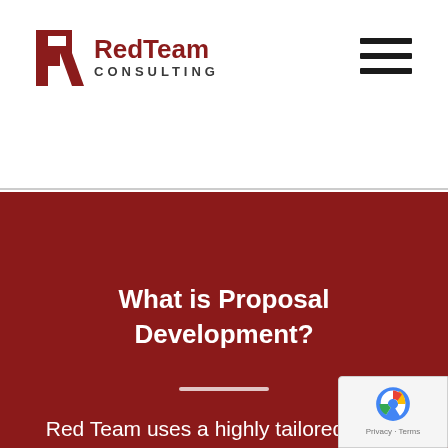[Figure (logo): RedTeam Consulting logo with stylized R icon in dark red and company name in bold red/dark text]
[Figure (other): Hamburger menu icon (three horizontal black lines) in top right corner]
What is Proposal Development?
Red Team uses a highly tailored proposal approach, implemented by some of the best proposal